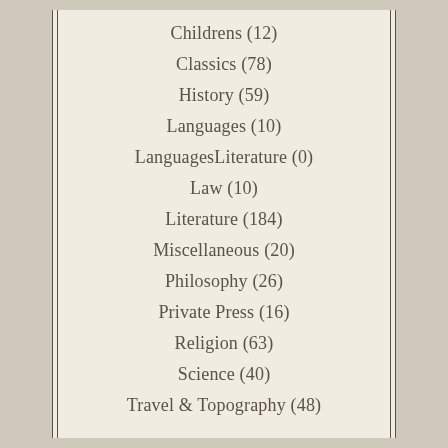Childrens (12)
Classics (78)
History (59)
Languages (10)
LanguagesLiterature (0)
Law (10)
Literature (184)
Miscellaneous (20)
Philosophy (26)
Private Press (16)
Religion (63)
Science (40)
Travel & Topography (48)